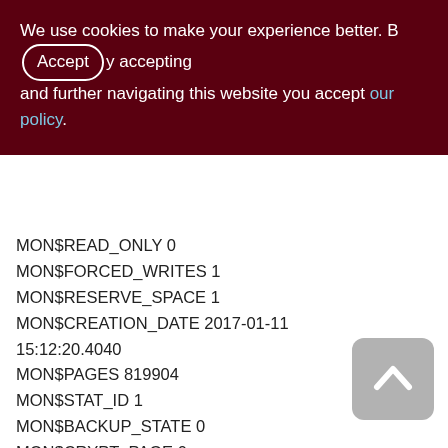We use cookies to make your experience better. By accepting and further navigating this website you accept our policy.
MON$READ_ONLY 0
MON$FORCED_WRITES 1
MON$RESERVE_SPACE 1
MON$CREATION_DATE 2017-01-11 15:12:20.4040
MON$PAGES 819904
MON$STAT_ID 1
MON$BACKUP_STATE 0
MON$CRYPT_PAGE 0
MON$OWNER SYSDBA
MON$SEC_DATABASE Default
ISQL Version: WI-V3.0.4.32979 Firebird 3.0
Server version:
Firebird/Windows/AMD/Intel/x64 (access method) version
[Figure (other): Back to top button - grey rounded rectangle with white upward chevron arrow]